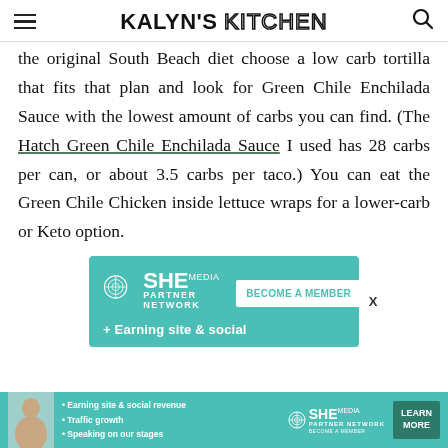KALYN'S KITCHEN
the original South Beach diet choose a low carb tortilla that fits that plan and look for Green Chile Enchilada Sauce with the lowest amount of carbs you can find. (The Hatch Green Chile Enchilada Sauce I used has 28 carbs per can, or about 3.5 carbs per taco.) You can eat the Green Chile Chicken inside lettuce wraps for a lower-carb or Keto option.
[Figure (screenshot): SHE Media Partner Network advertisement banner with teal background showing logo, 'BECOME A MEMBER' button, and partially visible text 'Earning site & social']
[Figure (screenshot): Bottom SHE Media Partner Network ad bar with person photo, bullet points: Earning site & social revenue, Traffic growth, Speaking on our stages, SHE logo, and LEARN MORE button]